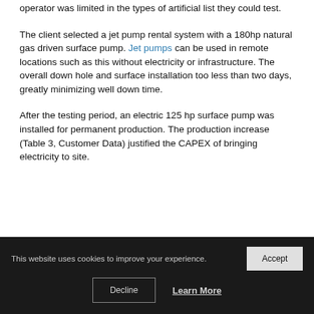operator was limited in the types of artificial list they could test.
The client selected a jet pump rental system with a 180hp natural gas driven surface pump. Jet pumps can be used in remote locations such as this without electricity or infrastructure. The overall down hole and surface installation too less than two days, greatly minimizing well down time.
After the testing period, an electric 125 hp surface pump was installed for permanent production. The production increase (Table 3, Customer Data) justified the CAPEX of bringing electricity to site.